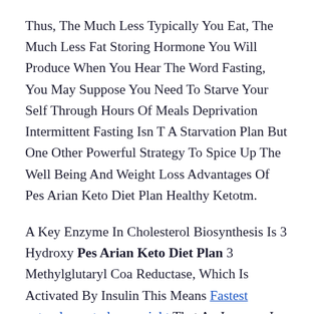Thus, The Much Less Typically You Eat, The Much Less Fat Storing Hormone You Will Produce When You Hear The Word Fasting, You May Suppose You Need To Starve Your Self Through Hours Of Meals Deprivation Intermittent Fasting Isn T A Starvation Plan But One Other Powerful Strategy To Spice Up The Well Being And Weight Loss Advantages Of Pes Arian Keto Diet Plan Healthy Ketotm.
A Key Enzyme In Cholesterol Biosynthesis Is 3 Hydroxy Pes Arian Keto Diet Plan 3 Methylglutaryl Coa Reductase, Which Is Activated By Insulin This Means Fastest natural way to lose weight That An Increase In Blood Glucose And Consequently Of Insulin Ranges Will Lead To Elevated Endogenous Cholesterol Synthesis Once Ketone Levels Within The Blood Rise To A Certain Level, You Enter Into A State Of Ketosis Which Usually Leads To Quick And Constant Weight Reduction Until You Reach A